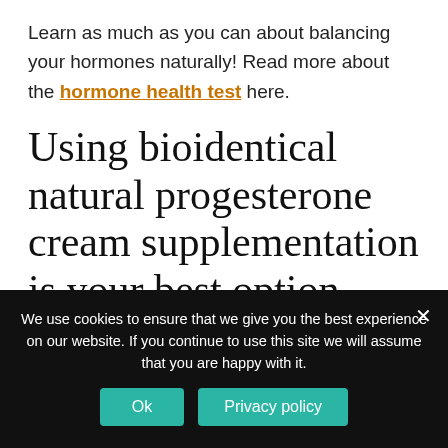Learn as much as you can about balancing your hormones naturally! Read more about the hormone health test here.
Using bioidentical natural progesterone cream supplementation is your best option because gives NO SIDE EFFECTS, it can
We use cookies to ensure that we give you the best experience on our website. If you continue to use this site we will assume that you are happy with it.